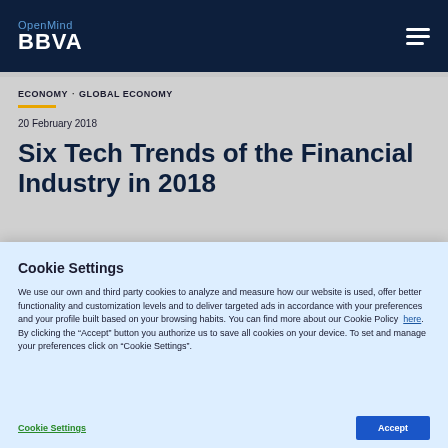OpenMind BBVA
ECONOMY · GLOBAL ECONOMY
20 February 2018
Six Tech Trends of the Financial Industry in 2018
Cookie Settings
We use our own and third party cookies to analyze and measure how our website is used, offer better functionality and customization levels and to deliver targeted ads in accordance with your preferences and your profile built based on your browsing habits. You can find more about our Cookie Policy here. By clicking the "Accept" button you authorize us to save all cookies on your device. To set and manage your preferences click on "Cookie Settings".